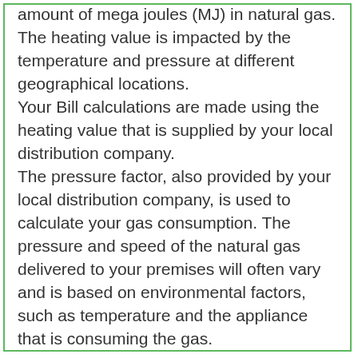amount of mega joules (MJ) in natural gas. The heating value is impacted by the temperature and pressure at different geographical locations. Your Bill calculations are made using the heating value that is supplied by your local distribution company. The pressure factor, also provided by your local distribution company, is used to calculate your gas consumption. The pressure and speed of the natural gas delivered to your premises will often vary and is based on environmental factors, such as temperature and the appliance that is consuming the gas.